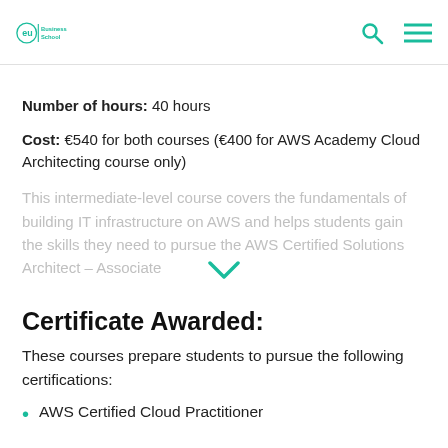EU Business School
Number of hours: 40 hours
Cost: €540 for both courses (€400 for AWS Academy Cloud Architecting course only)
This intermediate-level course covers the fundamentals of building IT infrastructure on AWS and helps students gain the skills they need to pursue the AWS Certified Solutions Architect – Associate
Certificate Awarded:
These courses prepare students to pursue the following certifications:
AWS Certified Cloud Practitioner